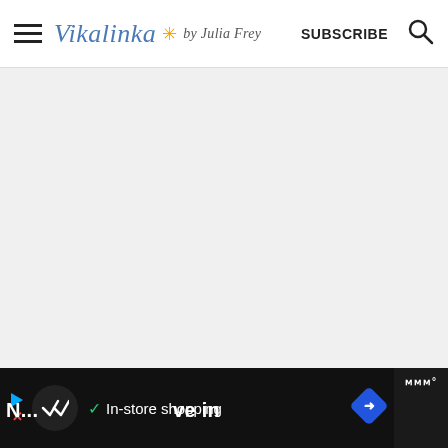Vikalinka by Julia Frey — SUBSCRIBE
[Figure (screenshot): Large grey empty content area below the navigation header]
[Figure (infographic): Black ad banner at the bottom with circular icon, checkmark, 'In-store shopping' text, and blue diamond arrow icon]